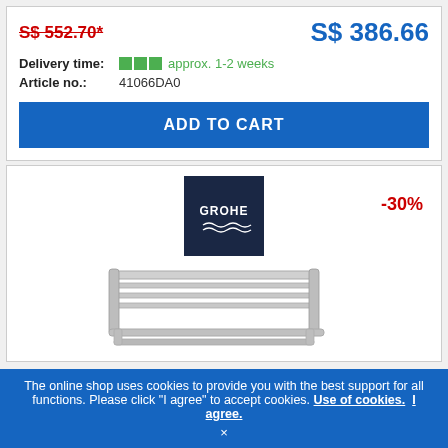S$ 552.70*
S$ 386.66
Delivery time: approx. 1-2 weeks
Article no.: 41066DA0
ADD TO CART
[Figure (logo): GROHE brand logo on dark navy background with wave motif]
-30%
[Figure (photo): Chrome towel rack/shelf product photo on white background]
The online shop uses cookies to provide you with the best support for all functions. Please click "I agree" to accept cookies. Use of cookies. I agree.